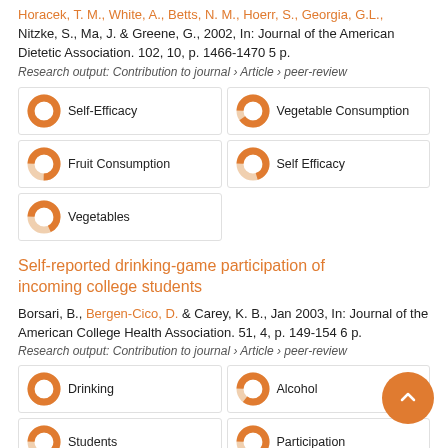Nitzke, S., Ma, J. & Greene, G., 2002, In: Journal of the American Dietetic Association. 102, 10, p. 1466-1470 5 p.
Research output: Contribution to journal › Article › peer-review
[Figure (infographic): Keyword badges: Self-Efficacy (100%), Vegetable Consumption (~90%), Fruit Consumption (~75%), Self Efficacy (~70%), Vegetables (~68%)]
Self-reported drinking-game participation of incoming college students
Borsari, B., Bergen-Cico, D. & Carey, K. B., Jan 2003, In: Journal of the American College Health Association. 51, 4, p. 149-154 6 p.
Research output: Contribution to journal › Article › peer-review
[Figure (infographic): Keyword badges: Drinking (100%), Alcohol (~85%), Students (~75%), Participation (~68%), Alcohols (~50%)]